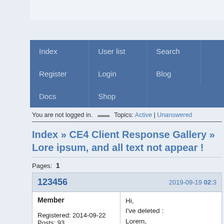[Figure (screenshot): Navigation menu with blue background containing links: Index, User list, Search, Register, Login, Blog, Docs, Shop]
You are not logged in.   Topics: Active | Unanswered
Index » CE4 Client Response Gallery » Lore ipsum, and all text not appear !
Pages:  1
| 123456 | 2019-09-19 02:3 |
| --- | --- |
| Member
Registered: 2014-09-22
Posts: 93 | Hi,
I've deleted :
Lorem,
ipsum, etc,
But remain :
"Legend" |